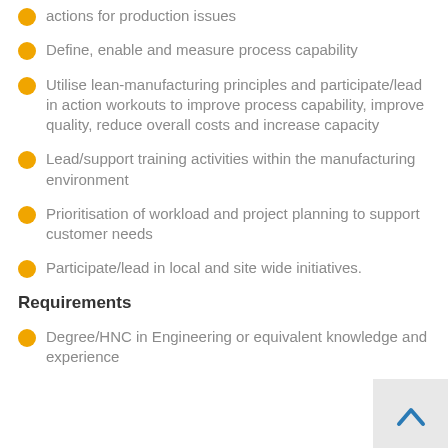actions for production issues
Define, enable and measure process capability
Utilise lean-manufacturing principles and participate/lead in action workouts to improve process capability, improve quality, reduce overall costs and increase capacity
Lead/support training activities within the manufacturing environment
Prioritisation of workload and project planning to support customer needs
Participate/lead in local and site wide initiatives.
Requirements
Degree/HNC in Engineering or equivalent knowledge and experience